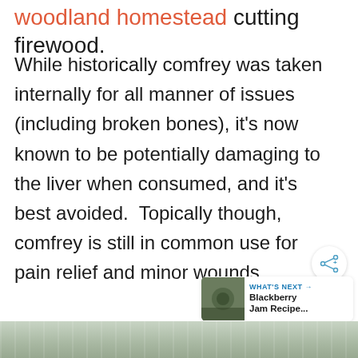woodland homestead cutting firewood.
While historically comfrey was taken internally for all manner of issues (including broken bones), it’s now known to be potentially damaging to the liver when consumed, and it’s best avoided.  Topically though, comfrey is still in common use for pain relief and minor wounds.
[Figure (other): Share button icon (circular with share symbol)]
[Figure (other): WHAT'S NEXT card with circular thumbnail and text: Blackberry Jam Recipe...]
[Figure (photo): Partial bottom image showing woodland/forest scene with trees and foliage]